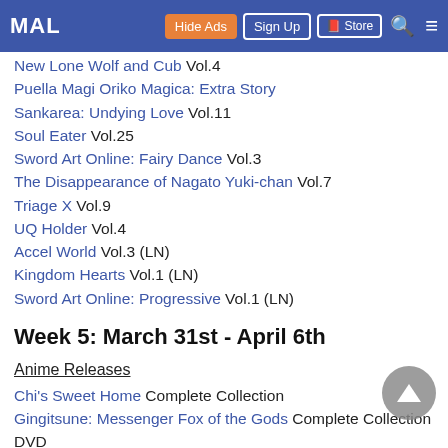MAL | Hide Ads | Sign Up | Store | Search | Menu
New Lone Wolf and Cub Vol.4
Puella Magi Oriko Magica: Extra Story
Sankarea: Undying Love Vol.11
Soul Eater Vol.25
Sword Art Online: Fairy Dance Vol.3
The Disappearance of Nagato Yuki-chan Vol.7
Triage X Vol.9
UQ Holder Vol.4
Accel World Vol.3 (LN)
Kingdom Hearts Vol.1 (LN)
Sword Art Online: Progressive Vol.1 (LN)
Week 5: March 31st - April 6th
Anime Releases
Chi's Sweet Home Complete Collection
Gingitsune: Messenger Fox of the Gods Complete Collection DVD
Gingitsune: Messenger Fox of the Gods Complete Collection Blu-ray